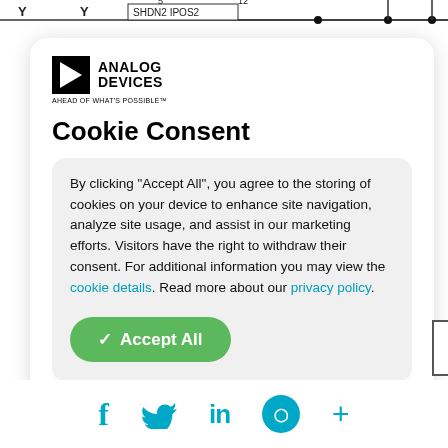[Figure (schematic): Top strip of an engineering schematic showing pin labels SHDN2, IPOS2 with numbers 5 and 12, and horizontal signal lines with connection dots]
[Figure (logo): Analog Devices logo with triangle icon and text 'ANALOG DEVICES AHEAD OF WHAT'S POSSIBLE']
Cookie Consent
By clicking “Accept All”, you agree to the storing of cookies on your device to enhance site navigation, analyze site usage, and assist in our marketing efforts. Visitors have the right to withdraw their consent. For additional information you may view the cookie details. Read more about our privacy policy.
[Figure (infographic): Green rounded 'Accept All' button with checkmark]
[Figure (infographic): Social media icon bar at bottom showing Facebook (f), Twitter (bird), LinkedIn (in), LINE (speech bubble), and plus (+) icons in teal/cyan color]